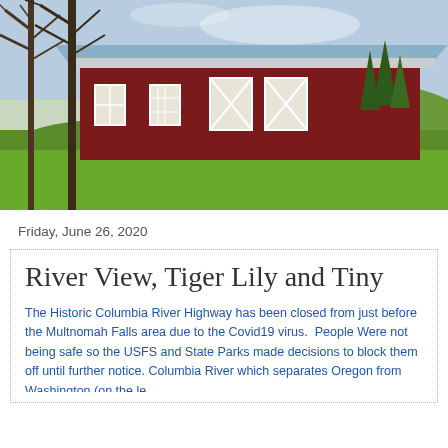[Figure (photo): Photograph of a red barn with white-trimmed windows and X-patterned doors, surrounded by green grass and trees with bare branches in the foreground, taken in spring or early summer.]
Friday, June 26, 2020
River View, Tiger Lily and Tiny
The Historic Columbia River Highway has been closed from just before the Multnomah Falls area due to the Covid19 virus.  People Were not being safe so the USFS and State Parks made decisions to block them off until further notice. Columbia River which separates Oregon from Washington (on the le